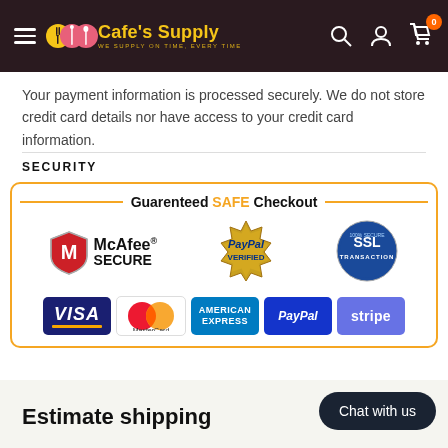Cafe's Supply — WE SUPPLY ON TIME, EVERY TIME
Your payment information is processed securely. We do not store credit card details nor have access to your credit card information.
SECURITY
[Figure (infographic): Guaranteed SAFE Checkout badge with McAfee SECURE, PayPal VERIFIED, SSL Transaction logos, and payment method logos: VISA, MasterCard, American Express, PayPal, Stripe]
Estimate shipping
Chat with us